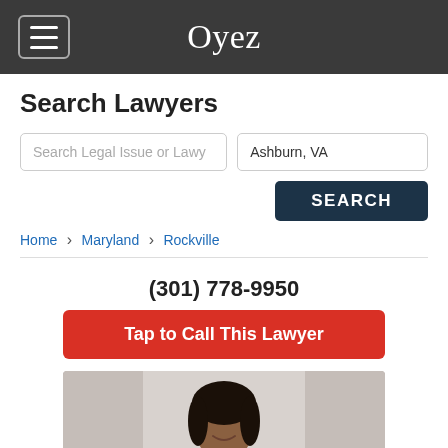Oyez
Search Lawyers
Search Legal Issue or Lawy
Ashburn, VA
SEARCH
Home › Maryland › Rockville
(301) 778-9950
Tap to Call This Lawyer
[Figure (photo): Professional headshot photo of a lawyer, a woman with dark curly hair, smiling, against a light background]